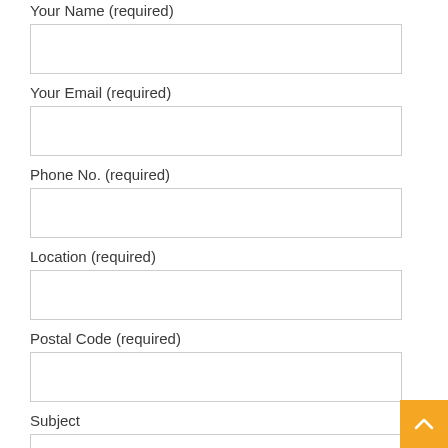Your Name (required)
Your Email (required)
Phone No. (required)
Location (required)
Postal Code (required)
Subject
Your Message